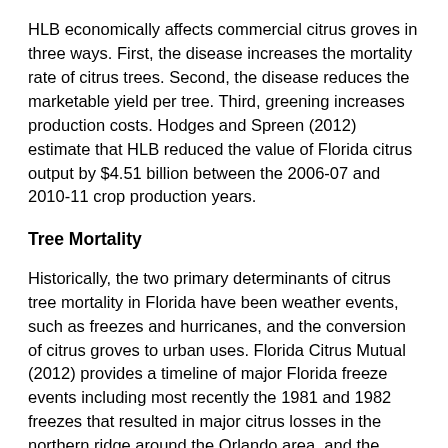HLB economically affects commercial citrus groves in three ways. First, the disease increases the mortality rate of citrus trees. Second, the disease reduces the marketable yield per tree. Third, greening increases production costs. Hodges and Spreen (2012) estimate that HLB reduced the value of Florida citrus output by $4.51 billion between the 2006-07 and 2010-11 crop production years.
Tree Mortality
Historically, the two primary determinants of citrus tree mortality in Florida have been weather events, such as freezes and hurricanes, and the conversion of citrus groves to urban uses. Florida Citrus Mutual (2012) provides a timeline of major Florida freeze events including most recently the 1981 and 1982 freezes that resulted in major citrus losses in the northern ridge around the Orlando area, and the 1985 and 1989 freezes. Hurricanes caused significant citrus tree loss in 2004. Florida experienced four hurricanes that year, and the paths of three of those hurricanes—namely Charley, Frances, and Jeanne—crossed though a major